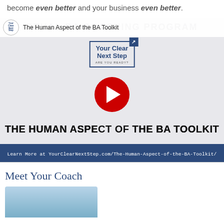become even better and your business even better.
[Figure (screenshot): YouTube video thumbnail for 'The Human Aspect of the BA Toolkit' with Your Clear Next Step branding, red play button, and text 'THE HUMAN ASPECT OF THE BA TOOLKIT' below the logo. A navy blue banner at the bottom shows the URL: Learn More at YourClearNextStep.com/The-Human-Aspect-of-the-BA-Toolkit/]
Meet Your Coach